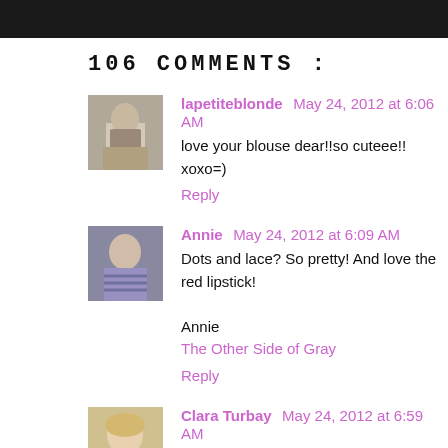106 COMMENTS :
[Figure (photo): Avatar photo of lapetiteblonde, person in light coat outdoors]
lapetiteblonde  May 24, 2012 at 6:06 AM
love your blouse dear!!so cuteee!!
xoxo=)
Reply
[Figure (photo): Avatar photo of Annie, person in striped top]
Annie  May 24, 2012 at 6:09 AM
Dots and lace? So pretty! And love the red lipstick!
Annie
The Other Side of Gray
Reply
[Figure (photo): Avatar photo of Clara Turbay, blonde woman]
Clara Turbay  May 24, 2012 at 6:59 AM
your suggestions are great, current and fun.
Reply